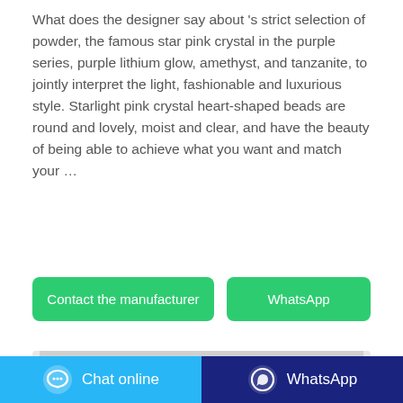What does the designer say about 's strict selection of powder, the famous star pink crystal in the purple series, purple lithium glow, amethyst, and tanzanite, to jointly interpret the light, fashionable and luxurious style. Starlight pink crystal heart-shaped beads are round and lovely, moist and clear, and have the beauty of being able to achieve what you want and match your …
[Figure (other): Two green buttons: 'Contact the manufacturer' and 'WhatsApp']
[Figure (photo): Product photo of an orange packaging bag with some small white dots on it and a label at the bottom, on a light gray background]
Chat online   WhatsApp